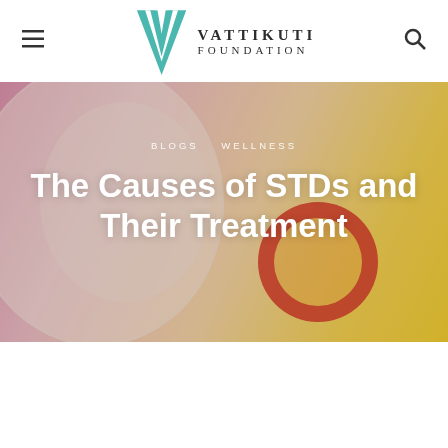[Figure (logo): Vattikuti Foundation logo with teal V emblem and serif text]
[Figure (photo): Hero banner image showing condoms on pink and yellow background]
BLOGS   WELLNESS
The Causes of STDs and Their Treatment